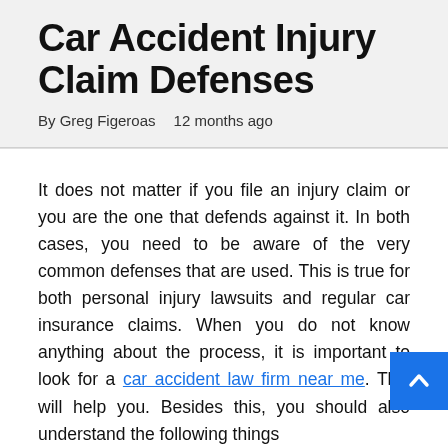Car Accident Injury Claim Defenses
By Greg Figeroas   12 months ago
It does not matter if you file an injury claim or you are the one that defends against it. In both cases, you need to be aware of the very common defenses that are used. This is true for both personal injury lawsuits and regular car insurance claims. When you do not know anything about the process, it is important to look for a car accident law firm near me. This will help you. Besides this, you should also understand the following things
The Car Accident Lawsuit